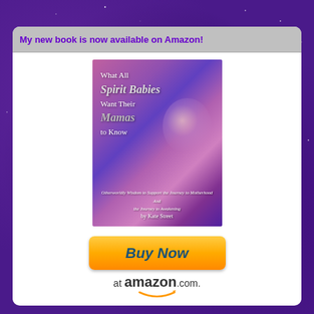My new book is now available on Amazon!
[Figure (illustration): Book cover for 'What All Spirit Babies Want Their Mamas to Know' by Kate Street. Purple and pink bokeh background with ethereal orb. Subtitle: Otherworldly Wisdom to Support the Journey to Motherhood And the Journey to Awakening.]
[Figure (illustration): Buy Now button (orange/yellow gradient) followed by 'at amazon.com' with Amazon smile logo below.]